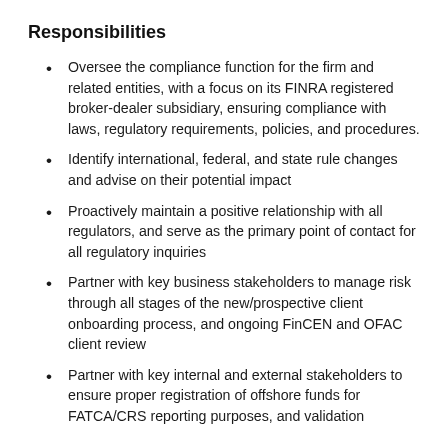Responsibilities
Oversee the compliance function for the firm and related entities, with a focus on its FINRA registered broker-dealer subsidiary, ensuring compliance with laws, regulatory requirements, policies, and procedures.
Identify international, federal, and state rule changes and advise on their potential impact
Proactively maintain a positive relationship with all regulators, and serve as the primary point of contact for all regulatory inquiries
Partner with key business stakeholders to manage risk through all stages of the new/prospective client onboarding process, and ongoing FinCEN and OFAC client review
Partner with key internal and external stakeholders to ensure proper registration of offshore funds for FATCA/CRS reporting purposes, and validation